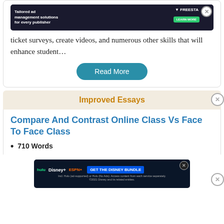[Figure (screenshot): Advertisement banner at top: dark background with text 'Tailored ad management solutions for every publisher', FREESTA logo, and green LEARN MORE button]
ticket surveys, create videos, and numerous other skills that will enhance student...
Read More
Improved Essays
Compare And Contrast Online Class Vs Face To Face Class
710 Words
[Figure (screenshot): Disney Bundle advertisement: hulu, Disney+, ESPN+ logos with GET THE DISNEY BUNDLE button and fine print about services]